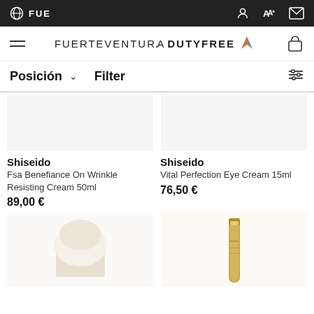FUE — Fuerteventura Duty Free navigation bar
[Figure (screenshot): Fuerteventura Duty Free logo with orange/grey chevron graphic]
Posición ∨  Filter
Shiseido
Fsa Benefiance On Wrinkle Resisting Cream 50ml
89,00 €
Shiseido
Vital Perfection Eye Cream 15ml
76,50 €
[Figure (photo): Product image placeholder for Shiseido Fsa Benefiance cream at bottom]
[Figure (photo): Product image placeholder for Shiseido Vital Perfection Eye Cream tube at bottom]